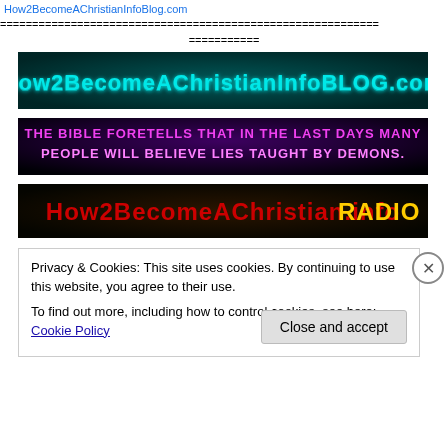How2BecomeAChristianInfoBlog.com (link)
===========================================================
===========
[Figure (logo): How2BecomeAChristianInfoBLOG.com - dark teal background with neon cyan glow text]
[Figure (infographic): THE BIBLE FORETELLS THAT IN THE LAST DAYS MANY PEOPLE WILL BELIEVE LIES TAUGHT BY DEMONS. - dark purple/black background with pink/white bold text]
[Figure (logo): How2BecomeAChristian.info RADIO - dark background with yellow/red stylized text]
Privacy & Cookies: This site uses cookies. By continuing to use this website, you agree to their use.
To find out more, including how to control cookies, see here: Cookie Policy
Close and accept